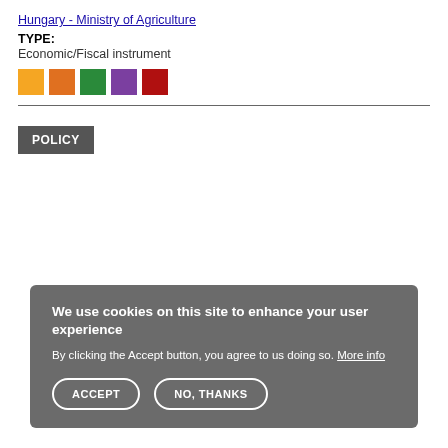Hungary - Ministry of Agriculture
TYPE:
Economic/Fiscal instrument
[Figure (other): Five colored square swatches: yellow/gold, orange, green, purple, dark red]
POLICY
We use cookies on this site to enhance your user experience
By clicking the Accept button, you agree to us doing so. More info
ACCEPT  NO, THANKS